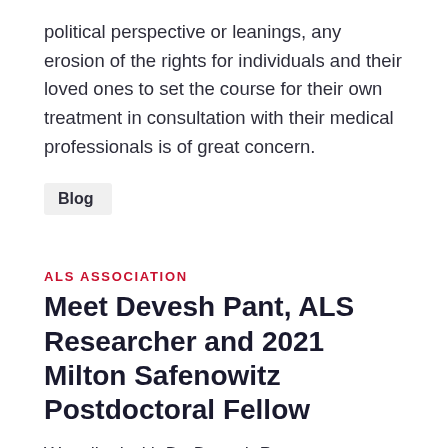political perspective or leanings, any erosion of the rights for individuals and their loved ones to set the course for their own treatment in consultation with their medical professionals is of great concern.
Blog
ALS ASSOCIATION
Meet Devesh Pant, ALS Researcher and 2021 Milton Safenowitz Postdoctoral Fellow
We talked with Dr. Devesh Pant, postdoctoral fellow from Emory University, to learn more about his